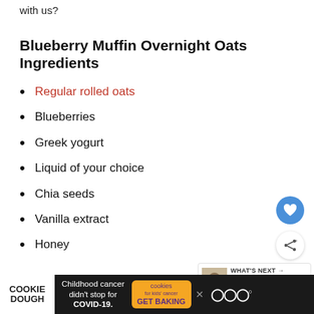with us?
Blueberry Muffin Overnight Oats Ingredients
Regular rolled oats
Blueberries
Greek yogurt
Liquid of your choice
Chia seeds
Vanilla extract
Honey
[Figure (other): Heart/favorite button (blue circle with heart icon) and Share button (white circle with share icon)]
[Figure (other): What's Next panel showing Blueberry Peanut Butt... with thumbnail image]
COOKIE DOUGH — Childhood cancer didn't stop for COVID-19. cookies for kids' cancer GET BAKING